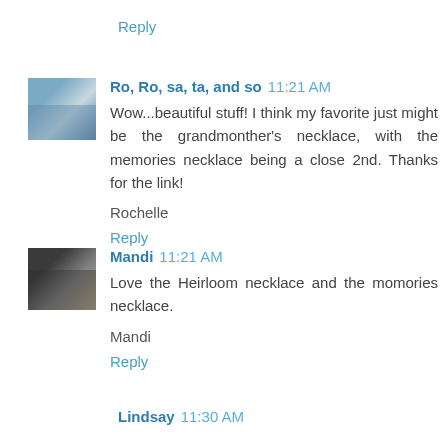Reply
Ro, Ro, sa, ta, and so  11:21 AM
Wow...beautiful stuff! I think my favorite just might be the grandmonther's necklace, with the memories necklace being a close 2nd. Thanks for the link!
Rochelle
Reply
Mandi  11:21 AM
Love the Heirloom necklace and the momories necklace.
Mandi
Reply
Lindsay  11:30 AM